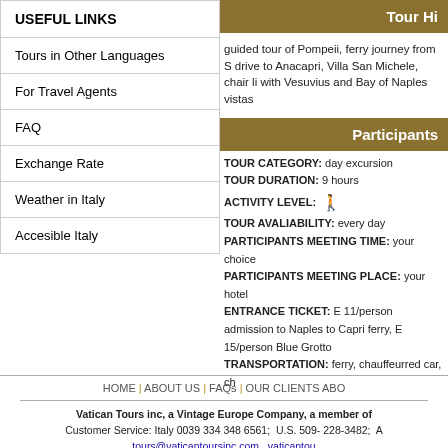USEFUL LINKS
Tours in Other Languages
For Travel Agents
FAQ
Exchange Rate
Weather in Italy
Accesible Italy
Tour Hi
guided tour of Pompeii, ferry journey from S drive to Anacapri, Villa San Michele, chair li with Vesuvius and Bay of Naples vistas
Participants
TOUR CATEGORY: day excursion
TOUR DURATION: 9 hours
ACTIVITY LEVEL: [walking icon]
TOUR AVALIABILITY: every day
PARTICIPANTS MEETING TIME: your choice
PARTICIPANTS MEETING PLACE: your hotel
ENTRANCE TICKET: E 11/person admission to Naples to Capri ferry, E 15/person Blue Grotto
TRANSPORTATION: ferry, chauffeurred car, ch
HOME | ABOUT US | FAQs | OUR CLIENTS ABO
Vatican Tours inc, a Vintage Europe Company, a member of Customer Service: Italy 0039 334 348 6561; U.S. 509- 228-3482; tours@vaticantoursinc.com   vaticantou
copyright by Vatican Tours